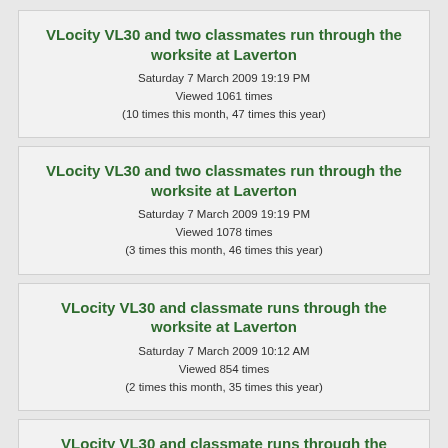VLocity VL30 and two classmates run through the worksite at Laverton
Saturday 7 March 2009 19:19 PM
Viewed 1061 times
(10 times this month, 47 times this year)
VLocity VL30 and two classmates run through the worksite at Laverton
Saturday 7 March 2009 19:19 PM
Viewed 1078 times
(3 times this month, 46 times this year)
VLocity VL30 and classmate runs through the worksite at Laverton
Saturday 7 March 2009 10:12 AM
Viewed 854 times
(2 times this month, 35 times this year)
VLocity VL30 and classmate runs through the worksite at Laverton
Saturday 7 March 2009 10:12 AM
Viewed 1131 times
(4 times this month, 61 times this year)